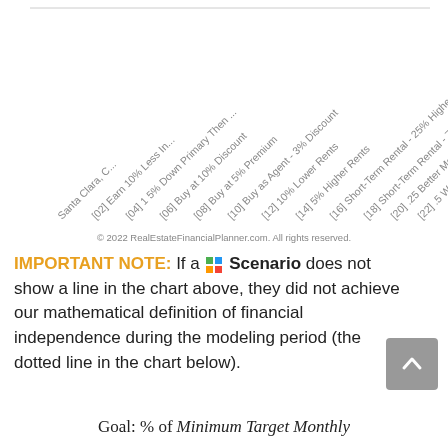[Figure (other): Rotated axis labels from a chart showing scenario names at 45-degree angle: Santa Clara, C..., [02] Earn 10% Less In..., [04] 1 5% Down Primary Then ..., [06] Buy at 10% Discount, [08] Buy at 5% Premium, [10] Buy as Agent - 3% Discount, [12] 10% Lower Rents, [14] 5% Higher Rents, [16] Short-Term Rental - 25% Higher Rents, [18] Short-Term Rental - 75% Higher Rents, [20] .25 Better Mortgage Interest Rate, [22] .5 Worse Mortgage Interest Rate]
© 2022 RealEstateFinancialPlanner.com. All rights reserved.
IMPORTANT NOTE: If a 📊 Scenario does not show a line in the chart above, they did not achieve our mathematical definition of financial independence during the modeling period (the dotted line in the chart below).
Goal: % of Minimum Target Monthly